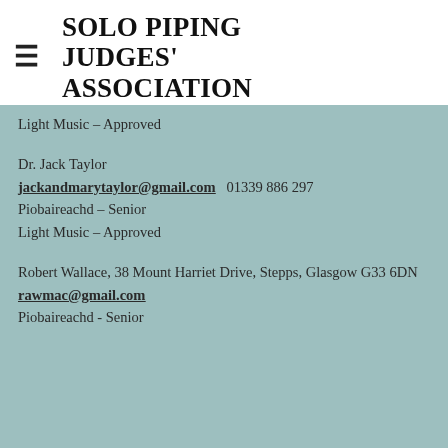SOLO PIPING JUDGES' ASSOCIATION
Light Music – Approved
Dr. Jack Taylor
jackandmarytaylor@gmail.com  01339 886 297
Piobaireachd – Senior
Light Music – Approved
Robert Wallace, 38 Mount Harriet Drive, Stepps, Glasgow G33 6DN
rawmac@gmail.com
Piobaireachd - Senior